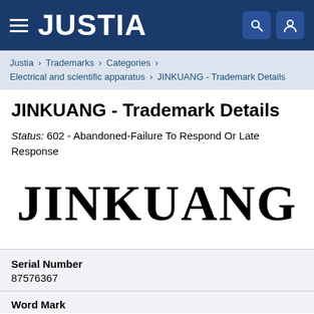JUSTIA
Justia › Trademarks › Categories › Electrical and scientific apparatus › JINKUANG - Trademark Details
JINKUANG - Trademark Details
Status: 602 - Abandoned-Failure To Respond Or Late Response
[Figure (logo): Large serif wordmark reading JINKUANG in bold black serif font]
Serial Number
87576367
Word Mark